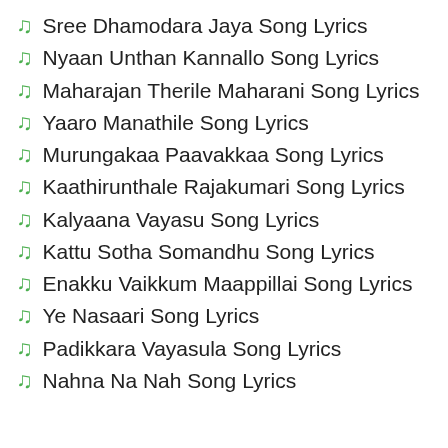Sree Dhamodara Jaya Song Lyrics
Nyaan Unthan Kannallo Song Lyrics
Maharajan Therile Maharani Song Lyrics
Yaaro Manathile Song Lyrics
Murungakaa Paavakkaa Song Lyrics
Kaathirunthale Rajakumari Song Lyrics
Kalyaana Vayasu Song Lyrics
Kattu Sotha Somandhu Song Lyrics
Enakku Vaikkum Maappillai Song Lyrics
Ye Nasaari Song Lyrics
Padikkara Vayasula Song Lyrics
Nahna Na Nah Song Lyrics